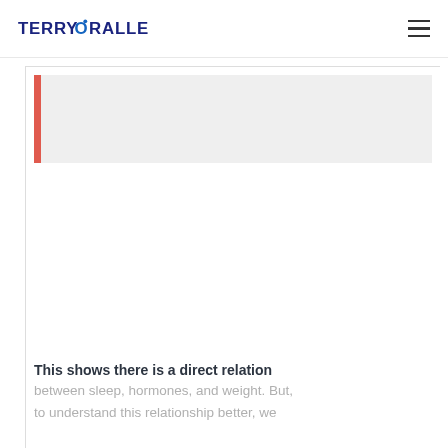TERRYORALLE
[Figure (other): Gray blockquote box with red left border accent, no visible text inside]
This shows there is a direct relation
between sleep, hormones, and weight. But, to understand this relationship better, we